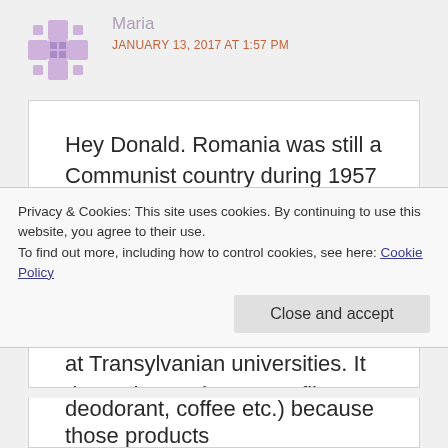[Figure (illustration): Purple/lavender decorative avatar icon — a diamond/cross pattern with small squares]
Maria
JANUARY 13, 2017 AT 1:57 PM
Hey Donald. Romania was still a Communist country during 1957 so there were not many foreigners allowed inside the country at that time. However, from my mothers stories there were quite a few African students at Transylvanian universities. It depends on where your film would be located. Big cities such as Timisoara and Cluj would have certainly had more ethnically diverse people
Privacy & Cookies: This site uses cookies. By continuing to use this website, you agree to their use.
To find out more, including how to control cookies, see here: Cookie Policy
Close and accept
deodorant, coffee etc.) because those products